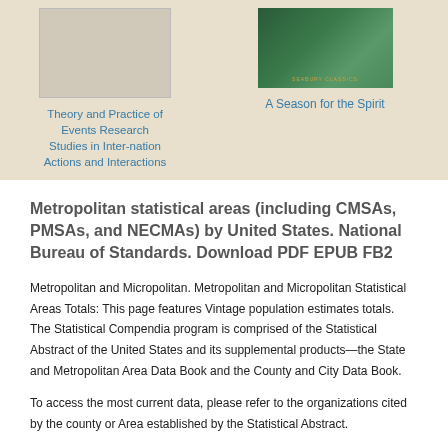[Figure (photo): Book cover placeholder for Theory and Practice of Events Research, light beige/gray rectangle]
Theory and Practice of Events Research Studies in Inter-nation Actions and Interactions
[Figure (photo): Book cover for A Season for the Spirit, green toned cover with SEABURY CLASSICS text at bottom]
A Season for the Spirit
Metropolitan statistical areas (including CMSAs, PMSAs, and NECMAs) by United States. National Bureau of Standards. Download PDF EPUB FB2
Metropolitan and Micropolitan. Metropolitan and Micropolitan Statistical Areas Totals: This page features Vintage population estimates totals. The Statistical Compendia program is comprised of the Statistical Abstract of the United States and its supplemental products—the State and Metropolitan Area Data Book and the County and City Data Book.
To access the most current data, please refer to the organizations cited by the county or Area established by the Statistical Abstract.